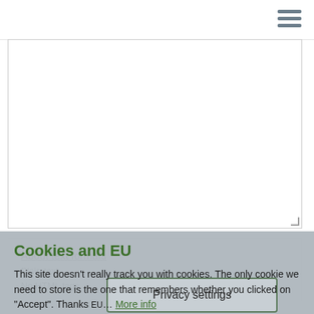[Figure (screenshot): Hamburger menu icon with three horizontal gray bars in top-right corner]
[Figure (screenshot): Large empty textarea input field with resize handle in bottom-right corner]
About text formats
Plain text
No HTML tags allowed.
[Figure (screenshot): Privacy settings button overlay]
Cookies and EU
This site doesn't really track you with cookies. The only cookie we need to store is the one that remembers whether you clicked on "Accept". Thanks EU... More info
Accept   No, thanks